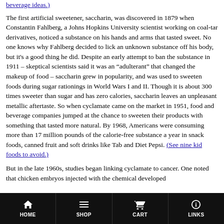beverage ideas.)
The first artificial sweetener, saccharin, was discovered in 1879 when Constantin Fahlberg, a Johns Hopkins University scientist working on coal-tar derivatives, noticed a substance on his hands and arms that tasted sweet. No one knows why Fahlberg decided to lick an unknown substance off his body, but it's a good thing he did. Despite an early attempt to ban the substance in 1911 – skeptical scientists said it was an "adulterant" that changed the makeup of food – saccharin grew in popularity, and was used to sweeten foods during sugar rationings in World Wars I and II. Though it is about 300 times sweeter than sugar and has zero calories, saccharin leaves an unpleasant metallic aftertaste. So when cyclamate came on the market in 1951, food and beverage companies jumped at the chance to sweeten their products with something that tasted more natural. By 1968, Americans were consuming more than 17 million pounds of the calorie-free substance a year in snack foods, canned fruit and soft drinks like Tab and Diet Pepsi. (See nine kid foods to avoid.)
But in the late 1960s, studies began linking cyclamate to cancer. One noted that chicken embryos injected with the chemical developed
HOME  SHOP  CART  LINKS